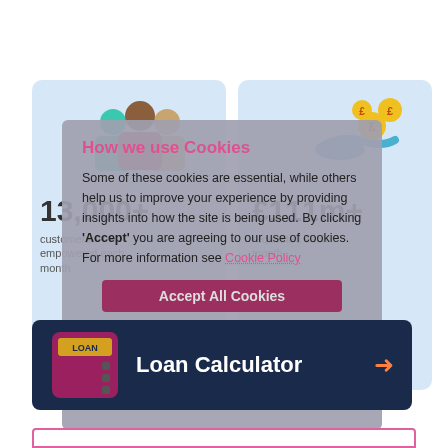[Figure (illustration): Two blue info cards side by side with people icon on left and money/coins icon on right]
13,000+ customers empowered each month
£111m+ requested each month
[Figure (screenshot): Cookie consent modal overlay with title 'How we use Cookies', text about cookies being essential, Accept All Cookies button, and opt-out link]
How we use Cookies
Some of these cookies are essential, while others help us to improve your experience by providing insights into how the site is being used. By clicking 'Accept' you are agreeing to our use of cookies. For more information see Cookie Policy
Accept All Cookies
opt-out of non essential cookies
[Figure (illustration): Loan Calculator dark navy banner with calculator icon, text 'Loan Calculator' and orange arrow]
Loan Calculator